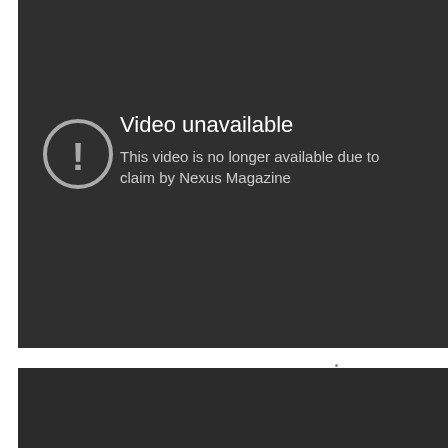[Figure (screenshot): YouTube video unavailable error screen. Dark gray background with a circular exclamation mark icon on the left and text 'Video unavailable' followed by 'This video is no longer available due to a claim by Nexus Magazine' on the right.]